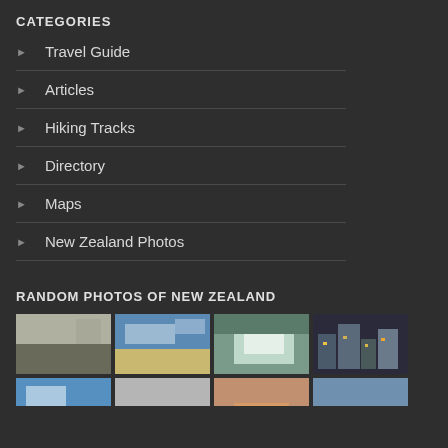CATEGORIES
Travel Guide
Articles
Hiking Tracks
Directory
Maps
New Zealand Photos
RANDOM PHOTOS OF NEW ZEALAND
[Figure (photo): Row of 4 New Zealand landscape/scene thumbnail photos: beach scene, sandy dunes with blue sky, icy/snowy landscape, city/buildings at night]
[Figure (photo): Row of 4 New Zealand landscape thumbnail photos (partially visible at bottom of page)]